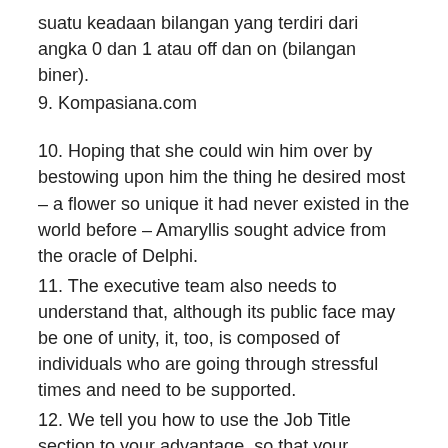suatu keadaan bilangan yang terdiri dari angka 0 dan 1 atau off dan on (bilangan biner).
9. Kompasiana.com
10. Hoping that she could win him over by bestowing upon him the thing he desired most – a flower so unique it had never existed in the world before – Amaryllis sought advice from the oracle of Delphi.
11. The executive team also needs to understand that, although its public face may be one of unity, it, too, is composed of individuals who are going through stressful times and need to be supported.
12. We tell you how to use the Job Title section to your advantage, so that your resume will get the attention of the hiring manager.
13. Com, untuk memastikan pemahaman kita tentang